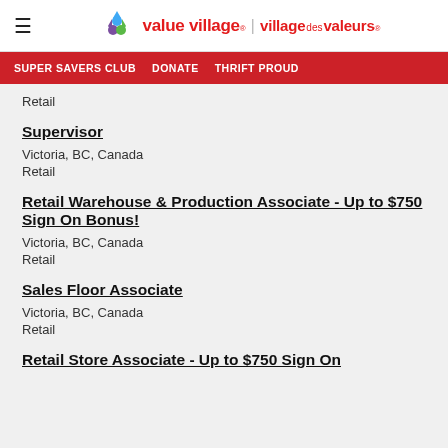value village | village des valeurs
SUPER SAVERS CLUB  DONATE  THRIFT PROUD
Retail
Supervisor
Victoria, BC, Canada
Retail
Retail Warehouse & Production Associate - Up to $750 Sign On Bonus!
Victoria, BC, Canada
Retail
Sales Floor Associate
Victoria, BC, Canada
Retail
Retail Store Associate - Up to $750 Sign On